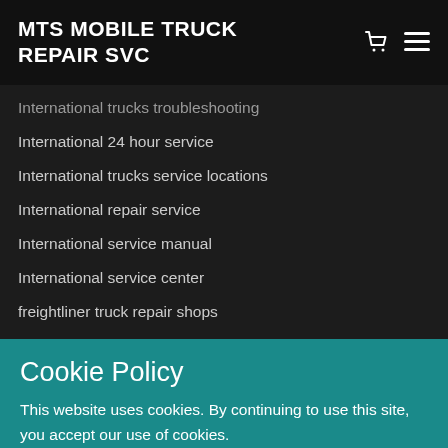MTS MOBILE TRUCK REPAIR SVC
International trucks troubleshooting
International 24 hour service
International trucks service locations
International repair service
International service manual
International service center
freightliner truck repair shops
Cookie Policy
This website uses cookies. By continuing to use this site, you accept our use of cookies.
DECLINE
ACCEPT & CLOSE